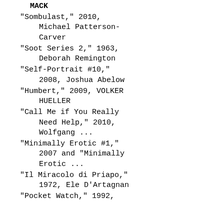MACK
"Sombulast," 2010, Michael Patterson-Carver
"Soot Series 2," 1963, Deborah Remington
"Self-Portrait #10," 2008, Joshua Abelow
"Humbert," 2009, VOLKER HUELLER
"Call Me if You Really Need Help," 2010, Wolfgang ...
"Minimally Erotic #1," 2007 and "Minimally Erotic ...
"Il Miracolo di Priapo," 1972, Ele D'Artagnan
"Pocket Watch," 1992,